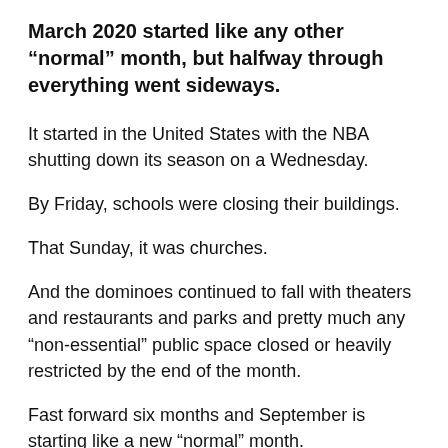March 2020 started like any other “normal” month, but halfway through everything went sideways.
It started in the United States with the NBA shutting down its season on a Wednesday.
By Friday, schools were closing their buildings.
That Sunday, it was churches.
And the dominoes continued to fall with theaters and restaurants and parks and pretty much any “non-essential” public space closed or heavily restricted by the end of the month.
Fast forward six months and September is starting like a new “normal” month.
The NBA season is back—playing games in a bubble